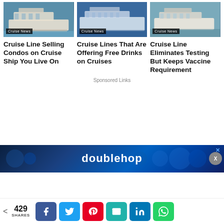[Figure (photo): Cruise ship photo with 'Cruise News' badge overlay]
Cruise Line Selling Condos on Cruise Ship You Live On
[Figure (photo): Cruise ship photo with 'Cruise News' badge overlay]
Cruise Lines That Are Offering Free Drinks on Cruises
[Figure (photo): Cruise ship photo with 'Cruise News' badge overlay]
Cruise Line Eliminates Testing But Keeps Vaccine Requirement
Sponsored Links
[Figure (screenshot): doublehop advertisement banner with blue background and circular design elements]
429 SHARES